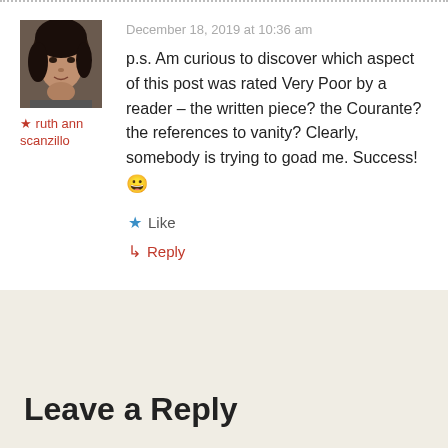[Figure (photo): Square portrait photo of ruth ann scanzillo, a woman with dark hair, close-up face shot, black and white/muted tones]
★ ruth ann scanzillo
December 18, 2019 at 10:36 am
p.s. Am curious to discover which aspect of this post was rated Very Poor by a reader – the written piece? the Courante? the references to vanity? Clearly, somebody is trying to goad me. Success! 😀
★ Like
↳ Reply
Leave a Reply